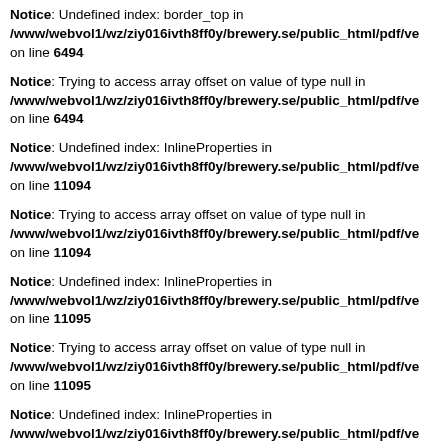Notice: Undefined index: border_top in /www/webvol1/wz/ziy016ivth8ff0y/brewery.se/public_html/pdf/ve on line 6494
Notice: Trying to access array offset on value of type null in /www/webvol1/wz/ziy016ivth8ff0y/brewery.se/public_html/pdf/ve on line 6494
Notice: Undefined index: InlineProperties in /www/webvol1/wz/ziy016ivth8ff0y/brewery.se/public_html/pdf/ve on line 11094
Notice: Trying to access array offset on value of type null in /www/webvol1/wz/ziy016ivth8ff0y/brewery.se/public_html/pdf/ve on line 11094
Notice: Undefined index: InlineProperties in /www/webvol1/wz/ziy016ivth8ff0y/brewery.se/public_html/pdf/ve on line 11095
Notice: Trying to access array offset on value of type null in /www/webvol1/wz/ziy016ivth8ff0y/brewery.se/public_html/pdf/ve on line 11095
Notice: Undefined index: InlineProperties in /www/webvol1/wz/ziy016ivth8ff0y/brewery.se/public_html/pdf/ve